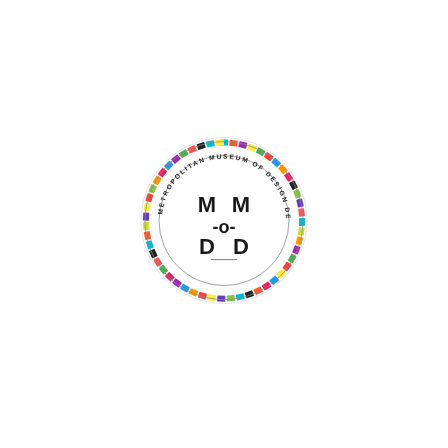[Figure (logo): Circular logo for Metropolitan Museum of Design Detroit (M-o-D / M-D). A colorful ring of small multi-colored squares borders the circle. Inside, bold letters M and M on top row, -o- in the middle, D and D on the bottom row, forming the acronym MoDD. Text around the ring reads 'METROPOLITAN MUSEUM OF DESIGN DETROIT'.]